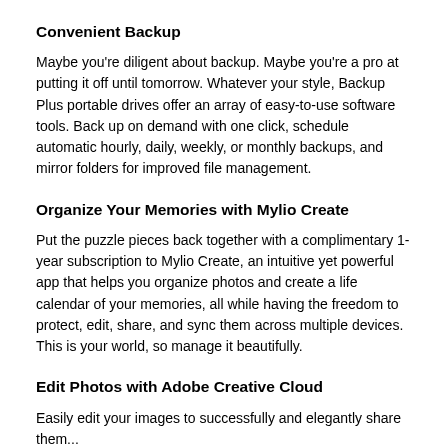Convenient Backup
Maybe you're diligent about backup. Maybe you're a pro at putting it off until tomorrow. Whatever your style, Backup Plus portable drives offer an array of easy-to-use software tools. Back up on demand with one click, schedule automatic hourly, daily, weekly, or monthly backups, and mirror folders for improved file management.
Organize Your Memories with Mylio Create
Put the puzzle pieces back together with a complimentary 1-year subscription to Mylio Create, an intuitive yet powerful app that helps you organize photos and create a life calendar of your memories, all while having the freedom to protect, edit, share, and sync them across multiple devices. This is your world, so manage it beautifully.
Edit Photos with Adobe Creative Cloud
Easily edit your images to successfully and elegantly share them...